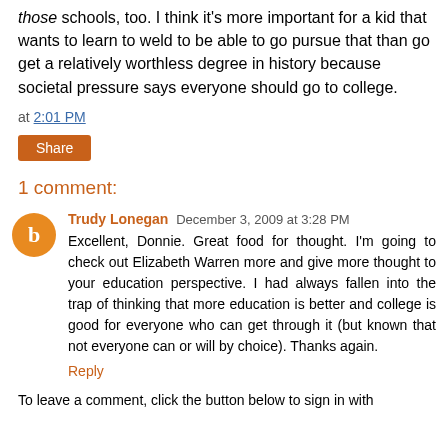those schools, too. I think it's more important for a kid that wants to learn to weld to be able to go pursue that than go get a relatively worthless degree in history because societal pressure says everyone should go to college.
at 2:01 PM
Share
1 comment:
Trudy Lonegan  December 3, 2009 at 3:28 PM
Excellent, Donnie. Great food for thought. I'm going to check out Elizabeth Warren more and give more thought to your education perspective. I had always fallen into the trap of thinking that more education is better and college is good for everyone who can get through it (but known that not everyone can or will by choice). Thanks again.
Reply
To leave a comment, click the button below to sign in with